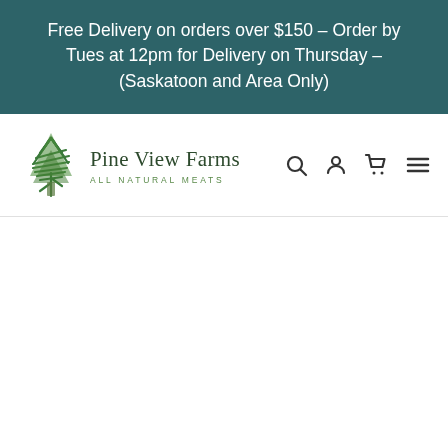Free Delivery on orders over $150 – Order by Tues at 12pm for Delivery on Thursday – (Saskatoon and Area Only)
[Figure (logo): Pine View Farms logo with stylized green tree icon and text 'Pine View Farms ALL NATURAL MEATS' with search, account, cart, and menu icons]